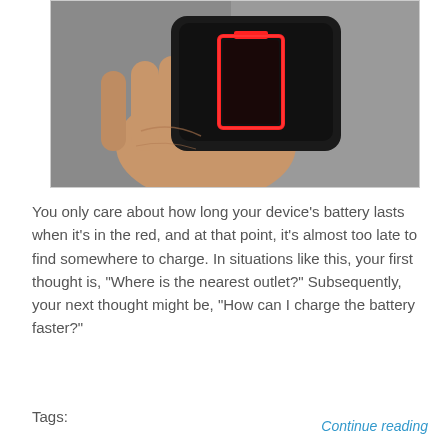[Figure (photo): A hand holding a smartphone displaying a low battery icon (empty red battery outline) on a dark screen, against a gray background.]
You only care about how long your device’s battery lasts when it’s in the red, and at that point, it’s almost too late to find somewhere to charge. In situations like this, your first thought is, “Where is the nearest outlet?” Subsequently, your next thought might be, “How can I charge the battery faster?”
Tags:
Continue reading